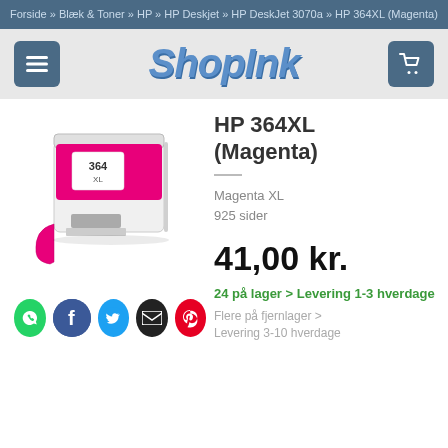Forside » Blæk & Toner » HP » HP Deskjet » HP DeskJet 3070a » HP 364XL (Magenta)
[Figure (logo): ShopInk store logo with hamburger menu button on left and cart button on right]
HP 364XL (Magenta)
[Figure (photo): HP 364XL Magenta ink cartridge, white and magenta colored, showing the cartridge label '364 XL']
Magenta XL
925 sider
41,00 kr.
24 på lager > Levering 1-3 hverdage
Flere på fjernlager > Levering 3-10 hverdage